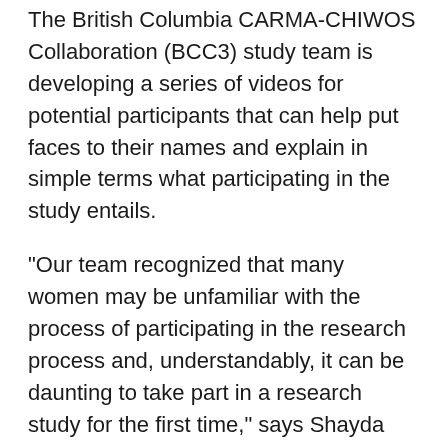The British Columbia CARMA-CHIWOS Collaboration (BCC3) study team is developing a series of videos for potential participants that can help put faces to their names and explain in simple terms what participating in the study entails.
"Our team recognized that many women may be unfamiliar with the process of participating in the research process and, understandably, it can be daunting to take part in a research study for the first time," says Shayda Swann, a trainee working with the team. "With this series of videos, the first of which we are premiering for World AIDS Day, we hope to familiarize future and current participants with our study and to show them exactly what it looks like to be a study participant and where